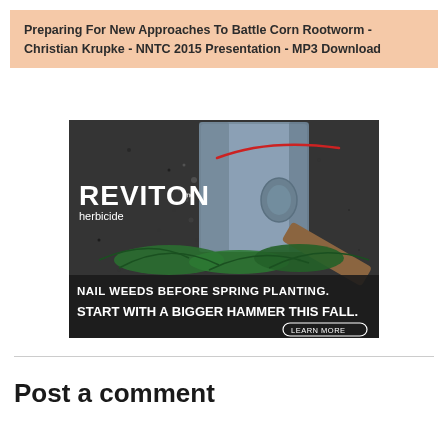Preparing For New Approaches To Battle Corn Rootworm - Christian Krupke - NNTC 2015 Presentation - MP3 Download
[Figure (photo): Advertisement for REVITON herbicide showing a large metal hammer head striking green weeds against a dark concrete background. Text reads: NAIL WEEDS BEFORE SPRING PLANTING. START WITH A BIGGER HAMMER THIS FALL. LEARN MORE button at bottom right.]
Post a comment